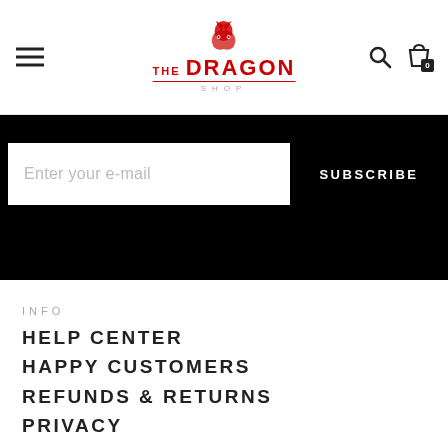The Dragon Shop — navigation header with hamburger menu, logo, search icon, bag icon (0)
Enter your e-mail
SUBSCRIBE
INFO
HELP CENTER
HAPPY CUSTOMERS
REFUNDS & RETURNS
PRIVACY
TERMS
CATALOG
ALTERNATIVE